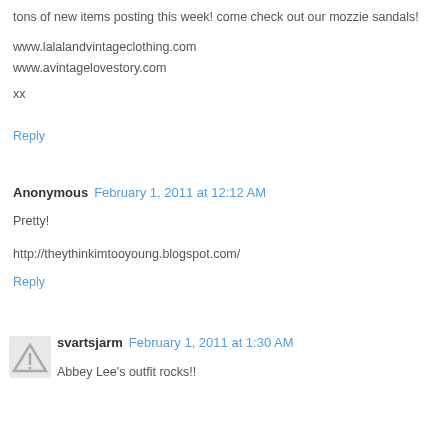tons of new items posting this week! come check out our mozzie sandals!

www.lalalandvintageclothing.com
www.avintagelovestory.com

xx
Reply
Anonymous  February 1, 2011 at 12:12 AM
Pretty!
http://theythinkimtooyoung.blogspot.com/
Reply
svartsjarm  February 1, 2011 at 1:30 AM
Abbey Lee's outfit rocks!!